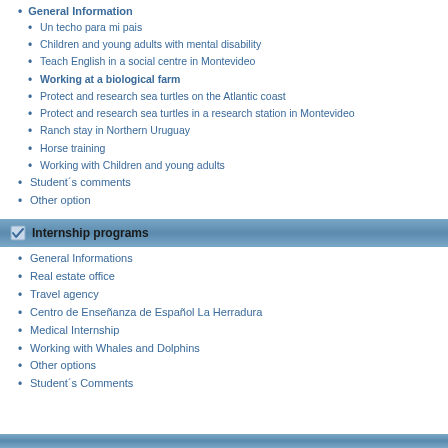General Information
Un techo para mi pais
Children and young adults with mental disability
Teach English in a social centre in Montevideo
Working at a biological farm
Protect and research sea turtles on the Atlantic coast
Protect and research sea turtles in a research station in Montevideo
Ranch stay in Northern Uruguay
Horse training
Working with Children and young adults
Student´s comments
Other option
Internship programs
General Informations
Real estate office
Travel agency
Centro de Enseñanza de Español La Herradura
Medical Internship
Working with Whales and Dolphins
Other options
Student´s Comments